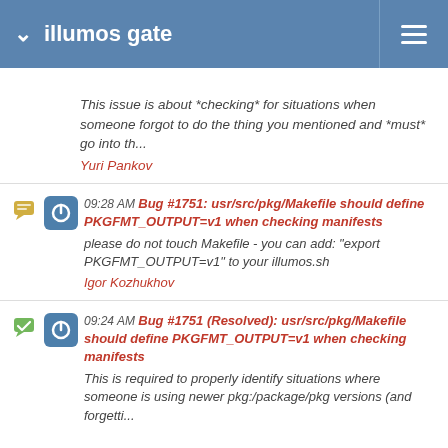illumos gate
This issue is about *checking* for situations when someone forgot to do the thing you mentioned and *must* go into th...
Yuri Pankov
09:28 AM Bug #1751: usr/src/pkg/Makefile should define PKGFMT_OUTPUT=v1 when checking manifests
please do not touch Makefile - you can add: "export PKGFMT_OUTPUT=v1" to your illumos.sh
Igor Kozhukhov
09:24 AM Bug #1751 (Resolved): usr/src/pkg/Makefile should define PKGFMT_OUTPUT=v1 when checking manifests
This is required to properly identify situations where someone is using newer pkg:/package/pkg versions (and forgetti...